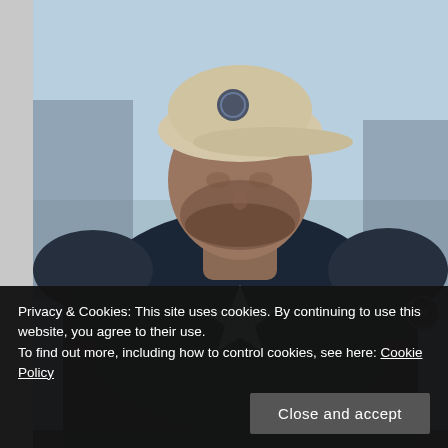[Figure (photo): A man wearing a beige baseball cap with a Captain America shield logo, and a dark navy blue superhero armor suit with a silver star on the chest. The background is a blurred light blue sky and dark structures. The photo appears to be a fan-edited or movie still image.]
Privacy & Cookies: This site uses cookies. By continuing to use this website, you agree to their use.
To find out more, including how to control cookies, see here: Cookie Policy
Close and accept